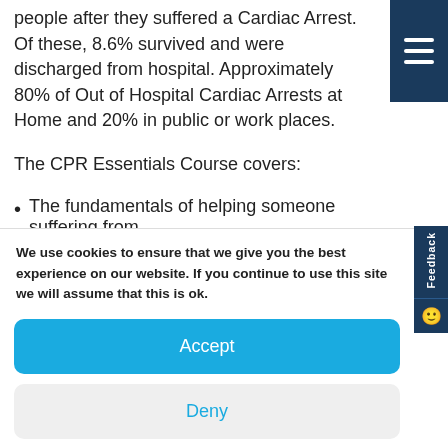people after they suffered a Cardiac Arrest. Of these, 8.6% survived and were discharged from hospital. Approximately 80% of Out of Hospital Cardiac Arrests at Home and 20% in public or work places.
The CPR Essentials Course covers:
The fundamentals of helping someone suffering from cardiac arrest
We use cookies to ensure that we give you the best experience on our website. If you continue to use this site we will assume that this is ok.
Accept
Deny
Preferences
Cookie Policy  Privacy Policy